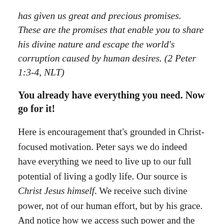has given us great and precious promises. These are the promises that enable you to share his divine nature and escape the world's corruption caused by human desires.  (2 Peter 1:3-4, NLT)
You already have everything you need. Now go for it!
Here is encouragement that's grounded in Christ-focused motivation. Peter says we do indeed have everything we need to live up to our full potential of living a godly life. Our source is Christ Jesus himself. We receive such divine power, not of our human effort, but by his grace. And notice how we access such power and the resulting character virtues. We plug into his